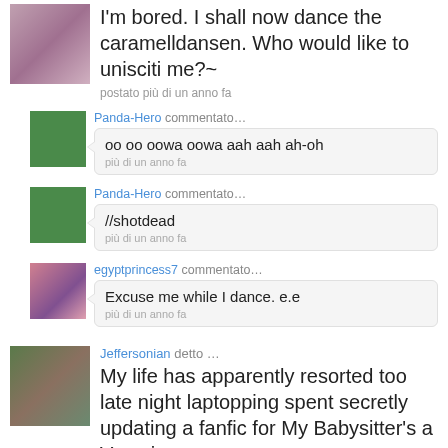I'm bored. I shall now dance the caramelldansen. Who would like to unisciti me?~
postato più di un anno fa
Panda-Hero commentato…
oo oo oowa oowa aah aah ah-oh
più di un anno fa
Panda-Hero commentato…
//shotdead
più di un anno fa
egyptprincess7 commentato…
Excuse me while I dance. e.e
più di un anno fa
Jeffersonian detto …
My life has apparently resorted too late night laptopping spent secretly updating a fanfic for My Babysitter's a Vampire.
postato più di un anno fa